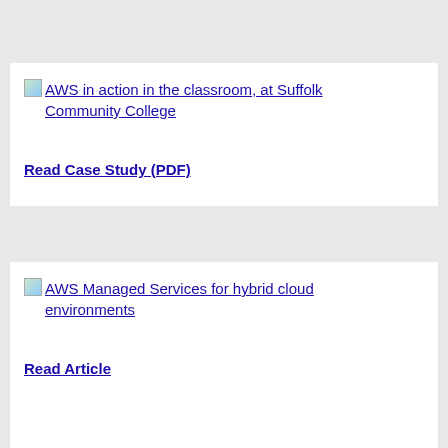[Figure (screenshot): Broken image icon for AWS in action in the classroom, at Suffolk Community College with link text]
Read Case Study (PDF)
[Figure (screenshot): Broken image icon for AWS Managed Services for hybrid cloud environments with link text]
Read Article